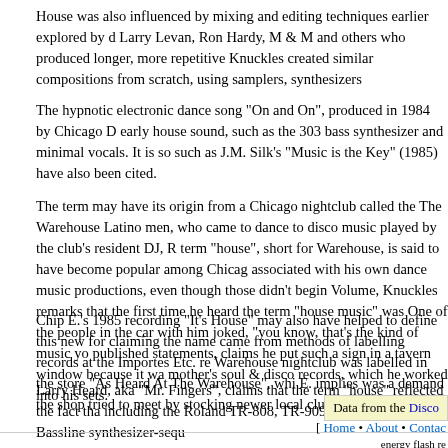House was also influenced by mixing and editing techniques earlier explored by d Larry Levan, Ron Hardy, M & M and others who produced longer, more repetitive  Knuckles created similar compositions from scratch, using samplers, synthesizers
The hypnotic electronic dance song "On and On", produced in 1984 by Chicago D early house sound, such as the 303 bass synthesizer and minimal vocals. It is so such as J.M. Silk's "Music is the Key" (1985) have also been cited.
The term may have its origin from a Chicago nightclub called the The Warehouse Latino men, who came to dance to disco music played by the club's resident DJ, R term "house", short for Warehouse, is said to have become popular among Chicag associated with his own dance music productions, even though those didn't begin Volume, Knuckles remarks that the first time he heard the term "house music" was One of the people in the car with him joked, "you know, that's the kind of music yo published statements, claims he put such a sign in a tavern window because it wa mother's soul & disco records, which he worked into his sets.
Chip E.'s 1985 recording "It's House" may also have helped to define this new for claiming the name came from methods of labelling records at the Importes Etc. re Warehouse nightclub was labelled in the store "As Heard At The Warehouse", whi E. implies was a demand the shop tried to meet by stocking newer local club hits.
Larry Heard, aka "Mr. Fingers", claims that the term "house" reflected the fact tha including the Roland TR-808, TR-909, and the TB 303 Bassline synthesizer-sequ
Data from the Disco
[ Home • About • Contac energy flash re